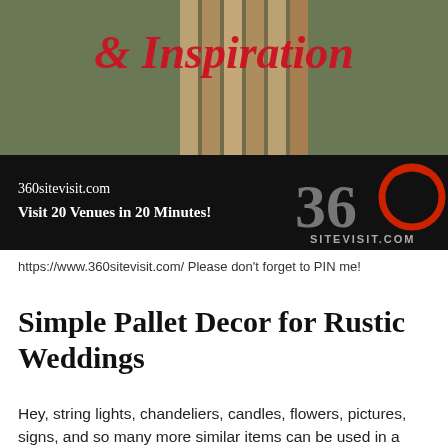[Figure (photo): Banner photo of rustic wedding decor with vertical wooden barrels/posts on grass, overlaid with red script text '& Inspiration']
[Figure (infographic): Black advertisement bar for 360sitevisit.com showing '360sitevisit.com Visit 20 Venues in 20 Minutes!' with a large '360' logo where the O is styled in red on the right side, and 'SITEVISIT.COM' in grey text below]
https://www.360sitevisit.com/ Please don't forget to PIN me!
Simple Pallet Decor for Rustic Weddings
Hey, string lights, chandeliers, candles, flowers, pictures, signs, and so many more similar items can be used in a rustic wedding. Certainly, one popular